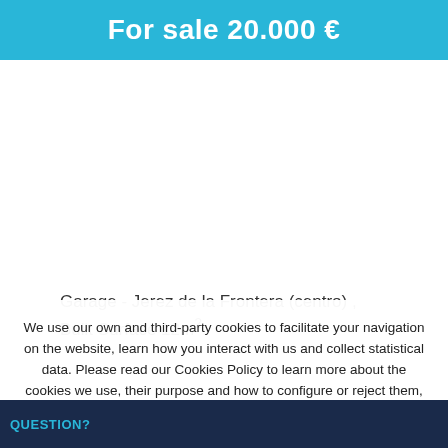For sale 20.000 €
Garage - Jerez de la Frontera (centro) , Built Surface 12m².
We use our own and third-party cookies to facilitate your navigation on the website, learn how you interact with us and collect statistical data. Please read our Cookies Policy to learn more about the cookies we use, their purpose and how to configure or reject them, if you consider it so.
QUESTION?